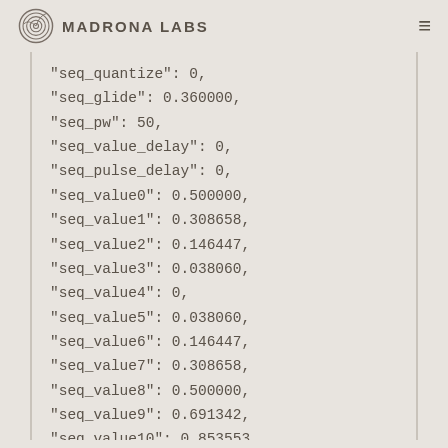Madrona Labs
"seq_quantize": 0,
"seq_glide": 0.360000,
"seq_pw": 50,
"seq_value_delay": 0,
"seq_pulse_delay": 0,
"seq_value0": 0.500000,
"seq_value1": 0.308658,
"seq_value2": 0.146447,
"seq_value3": 0.038060,
"seq_value4": 0,
"seq_value5": 0.038060,
"seq_value6": 0.146447,
"seq_value7": 0.308658,
"seq_value8": 0.500000,
"seq_value9": 0.691342,
"seq_value10": 0.853553,
"seq_value11": 0.961940,